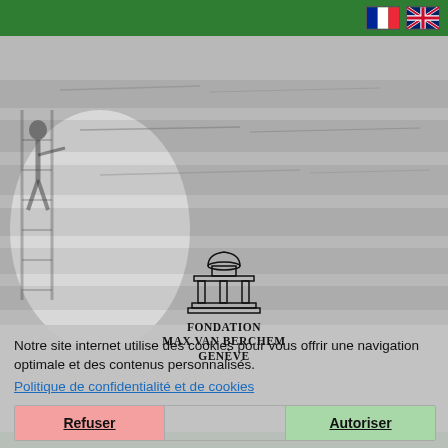Fondation Max Van Berchem — header with French and English flag icons
[Figure (photo): Black and white historical photograph showing a person pointing at an ornate wall with Arabic inscriptions carved in stone.]
[Figure (logo): Fondation Max Van Berchem Genève logo with architectural dome/building illustration above the text.]
Notre site internet utilise des cookies pour vous offrir une navigation optimale et des contenus personnalisés.
Politique de confidentialité et de cookies
Refuser  Autoriser
Cookie settings: ✓ Necessary | Preferences | Statistics